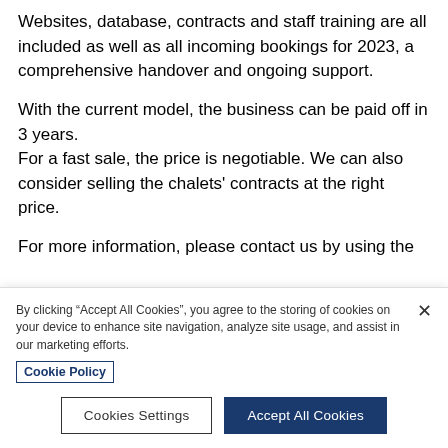Websites, database, contracts and staff training are all included as well as all incoming bookings for 2023, a comprehensive handover and ongoing support.
With the current model, the business can be paid off in 3 years.
For a fast sale, the price is negotiable. We can also consider selling the chalets' contracts at the right price.
For more information, please contact us by using the
By clicking “Accept All Cookies”, you agree to the storing of cookies on your device to enhance site navigation, analyze site usage, and assist in our marketing efforts.
Cookie Policy
Cookies Settings
Accept All Cookies